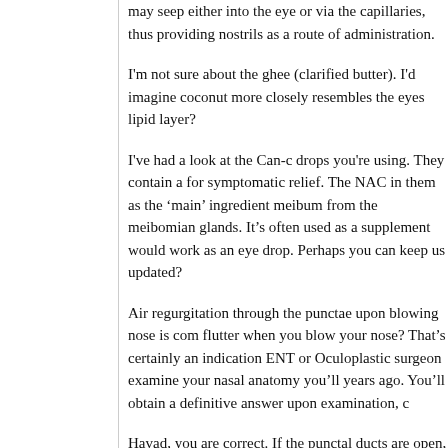may seep either into the eye or via the capillaries, thus providing nostrils as a route of administration.
I'm not sure about the ghee (clarified butter). I'd imagine coconut more closely resembles the eyes lipid layer?
I've had a look at the Can-c drops you're using. They contain a for symptomatic relief. The NAC in them as the 'main' ingredient meibum from the meibomian glands. It's often used as a supplement would work as an eye drop. Perhaps you can keep us updated?
Air regurgitation through the punctae upon blowing nose is com flutter when you blow your nose? That's certainly an indication ENT or Oculoplastic surgeon examine your nasal anatomy you'll years ago. You'll obtain a definitive answer upon examination, c
Havad, you are correct. If the punctal ducts are open, then you lacrimal ducts from natural tear drainage.
Dry eyes, tearing eyes, etc all increase 'ageing' around the eye of various treatments ages the eye area compared to normal eye both physically and mentally draining. So if you can live with son